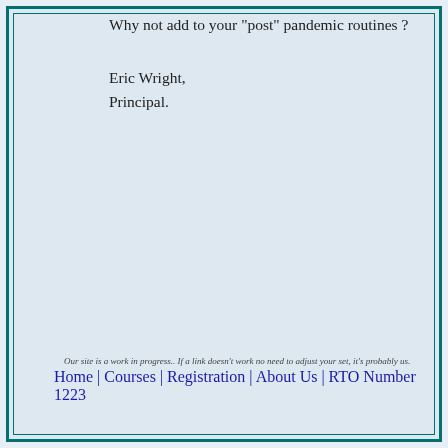Why not add to your "post" pandemic routines ?
Eric Wright,
Principal.
Our site is a work in progress.. If a link doesn't work no need to adjust your set, it's probably us.
Home | Courses | Registration | About Us | RTO Number 1223